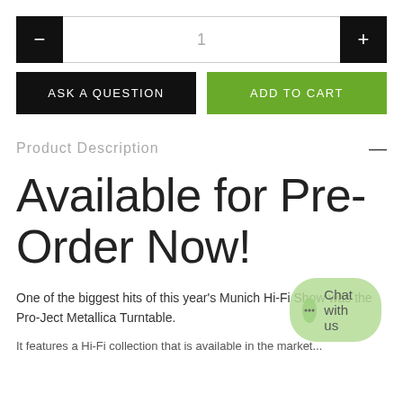[Figure (screenshot): Quantity selector with minus button, quantity field showing 1, and plus button]
[Figure (screenshot): Two action buttons: 'ASK A QUESTION' (black) and 'ADD TO CART' (green)]
Product Description
Available for Pre-Order Now!
One of the biggest hits of this year's Munich Hi-Fi Show was the Pro-Ject Metallica Turntable.
[Figure (screenshot): Chat with us widget overlay]
It features a Hi-Fi collection that is available in the market...